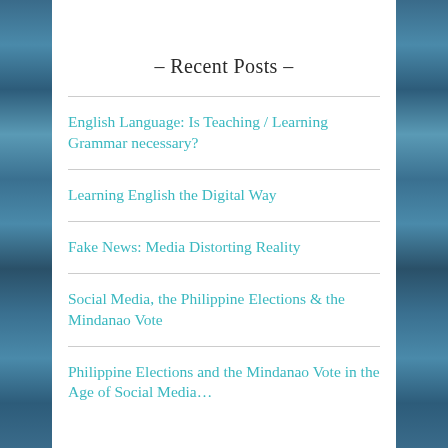– Recent Posts –
English Language: Is Teaching / Learning Grammar necessary?
Learning English the Digital Way
Fake News: Media Distorting Reality
Social Media, the Philippine Elections & the Mindanao Vote
Philippine Elections and the Mindanao Vote in the Age of Social Media…